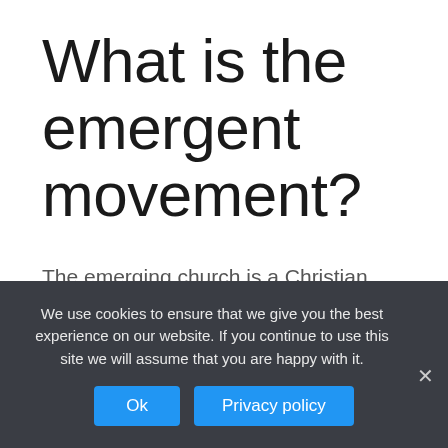What is the emergent movement?
The emerging church is a Christian Protestant movement of the late 20th and early 21st centuries that crosses a number of theological boundaries: participants are variously described as Protestant, post-Protestant, evangelical, post-evangelical, liberal, post-liberal, socially
We use cookies to ensure that we give you the best experience on our website. If you continue to use this site we will assume that you are happy with it.
Ok  Privacy policy